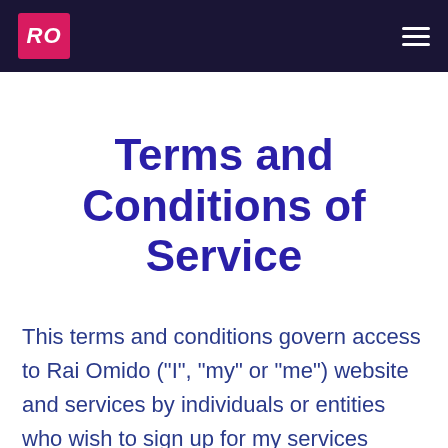RO
Terms and Conditions of Service
This terms and conditions govern access to Rai Omido ("I", "my" or "me") website and services by individuals or entities who wish to sign up for my services